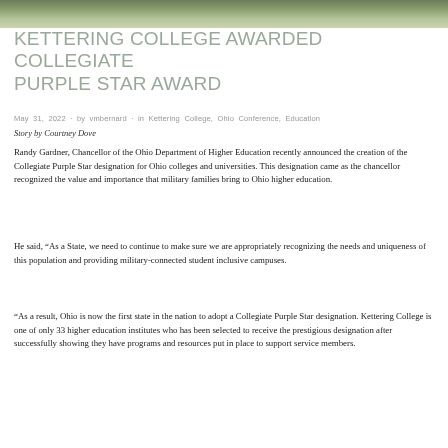[Figure (photo): Outdoor scene at top of page, partial view showing greenery/landscape]
KETTERING COLLEGE AWARDED COLLEGIATE PURPLE STAR AWARD
May 31, 2022 · by vmbernard · in Kettering College, Ohio Conference, Education
Story by Courtney Dove
Randy Gardner, Chancellor of the Ohio Department of Higher Education recently announced the creation of the Collegiate Purple Star designation for Ohio colleges and universities. This designation came as the chancellor recognized the value and importance that military families bring to Ohio higher education.
He said, “As a State, we need to continue to make sure we are appropriately recognizing the needs and uniqueness of this population and providing military-connected student inclusive campuses.
“As a result, Ohio is now the first state in the nation to adopt a Collegiate Purple Star designation. Kettering College is one of only 33 higher education institutes who has been selected to receive the prestigious designation after successfully showing they have programs and resources put in place to support service members.